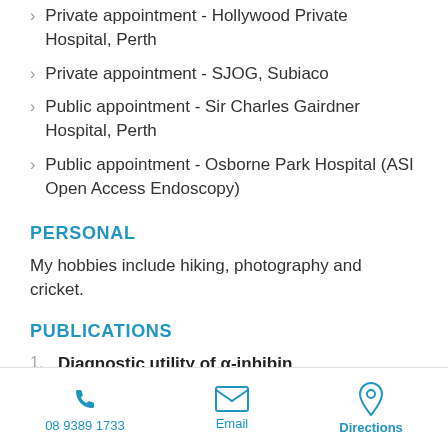Private appointment - Hollywood Private Hospital, Perth
Private appointment - SJOG, Subiaco
Public appointment - Sir Charles Gairdner Hospital, Perth
Public appointment - Osborne Park Hospital (ASI Open Access Endoscopy)
PERSONAL
My hobbies include hiking, photography and cricket.
PUBLICATIONS
Diagnostic utility of α-inhibin immunohistochemistry in the biopsy
08 9389 1733   Email   Directions